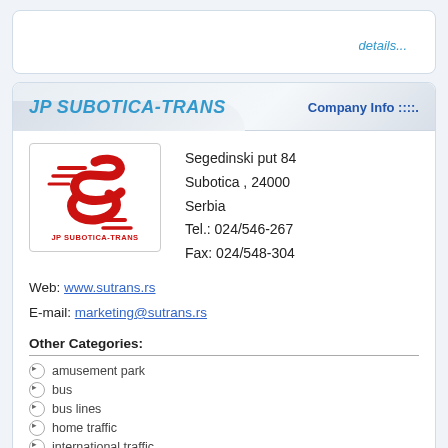details...
JP SUBOTICA-TRANS
Company Info ::::.
[Figure (logo): JP SUBOTICA-TRANS logo with red stylized S and swoosh marks, text 'JP SUBOTICA-TRANS' below]
Segedinski put 84
Subotica , 24000
Serbia
Tel.: 024/546-267
Fax: 024/548-304
Web: www.sutrans.rs
E-mail: marketing@sutrans.rs
Other Categories:
amusement park
bus
bus lines
home traffic
international traffic
international transport of passengers
mini bus